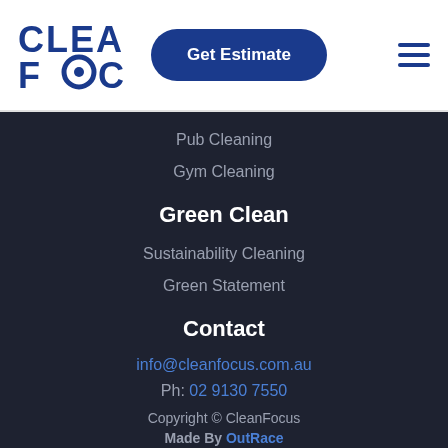[Figure (logo): CleanFocus logo with stylized F and swirl inside O, dark blue text]
Get Estimate
Pub Cleaning
Gym Cleaning
Green Clean
Sustainability Cleaning
Green Statement
Contact
info@cleanfocus.com.au
Ph: 02 9130 7550
Copyright © CleanFocus
Made By OutRace